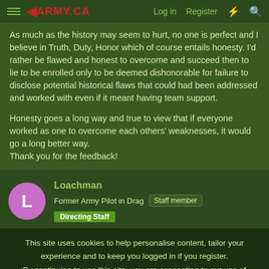ARMY.CA | Log in | Register
As much as the history may seem to hurt, no one is perfect and I believe in Truth, Duty, Honor which of course entails honesty. I'd rather be flawed and honest to overcome and succeed then to lie to be enrolled only to be deemed dishonorable for failure to disclose potential historical flaws that could had been addressed and worked with even if it meant having team support.

Honesty goes a long way and true to view that if everyone worked as one to overcome each others' weaknesses, it would go a long better way.
Thank you for the feedback!
Loachman
Former Army Pilot in Drag | Staff member | Directing Staff
This site uses cookies to help personalise content, tailor your experience and to keep you logged in if you register.
By continuing to use this site, you are consenting to our use of cookies.